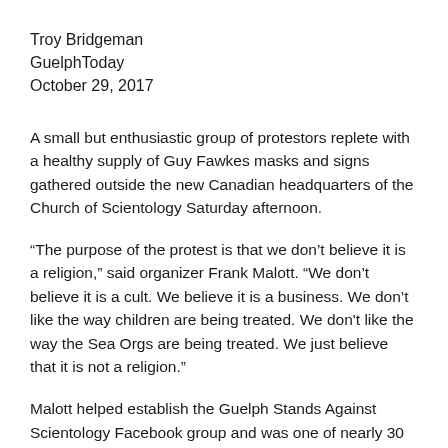Troy Bridgeman
GuelphToday
October 29, 2017
A small but enthusiastic group of protestors replete with a healthy supply of Guy Fawkes masks and signs gathered outside the new Canadian headquarters of the Church of Scientology Saturday afternoon.
“The purpose of the protest is that we don’t believe it is a religion,” said organizer Frank Malott. “We don’t believe it is a cult. We believe it is a business. We don’t like the way children are being treated. We don't like the way the Sea Orgs are being treated. We just believe that it is not a religion.”
Malott helped establish the Guelph Stands Against Scientology Facebook group and was one of nearly 30 people that braved the cold and rain Saturday to voice their opposition to the church setting up in Guelph.